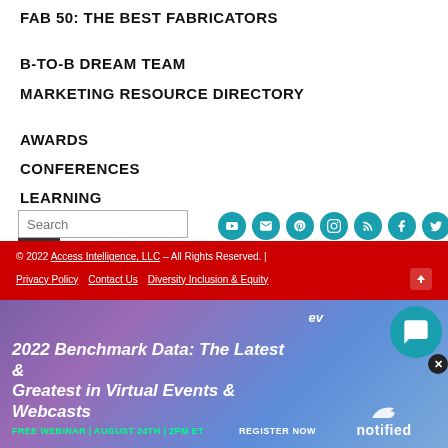FAB 50: THE BEST FABRICATORS
B-TO-B DREAM TEAM
MARKETING RESOURCE DIRECTORY
AWARDS
CONFERENCES
LEARNING
[Figure (other): Search input box with magnifying glass button and row of 8 teal social media icon circles (YouTube, email, Pinterest, Instagram, RSS, Facebook, Twitter, LinkedIn)]
© 2022 Access Intelligence, LLC – All Rights Reserved. | Privacy Policy   Contact Us   Diversity Inclusion & Equity
[Figure (infographic): Purple-blue gradient advertisement banner: '2022 Benchmark Data: The Latest & Greatest in Virtual Events & Webcasts' FREE WEBINAR | AUGUST 24TH | 2PM ET  REGISTER NOW  ev... notified logo with chat bubble icon and close button]